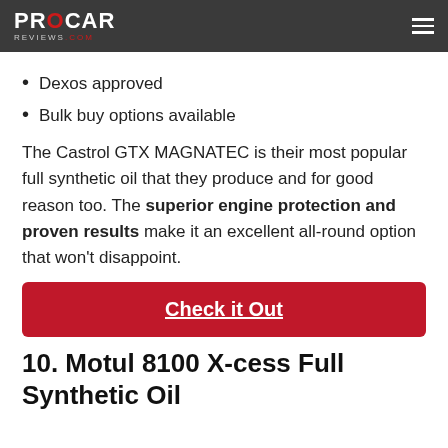PROCAR REVIEWS.COM
Dexos approved
Bulk buy options available
The Castrol GTX MAGNATEC is their most popular full synthetic oil that they produce and for good reason too. The superior engine protection and proven results make it an excellent all-round option that won't disappoint.
Check it Out
10. Motul 8100 X-cess Full Synthetic Oil